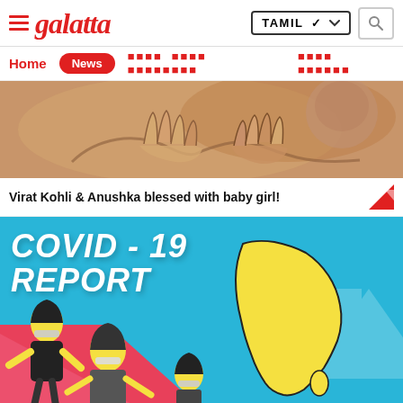Galatta - TAMIL
Home | News
[Figure (photo): Close-up photo of hands touching, warm brown/golden tones, top story image]
Virat Kohli & Anushka blessed with baby girl!
[Figure (infographic): COVID-19 Report infographic with cyan/blue background, bold white text reading COVID-19 REPORT, Tamil Nadu map outline in yellow, illustrated people wearing masks, red/pink diagonal color blocks, upward arrow in light blue]